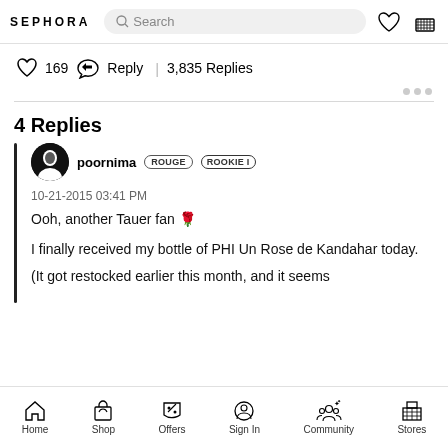SEPHORA | Search bar | heart icon | basket icon
169 | Reply | 3,835 Replies
4 Replies
poornima ROUGE ROOKIE I
10-21-2015 03:41 PM
Ooh, another Tauer fan 🌹

I finally received my bottle of PHI Un Rose de Kandahar today.
(It got restocked earlier this month, and it seems
Home  Shop  Offers  Sign In  Community  Stores